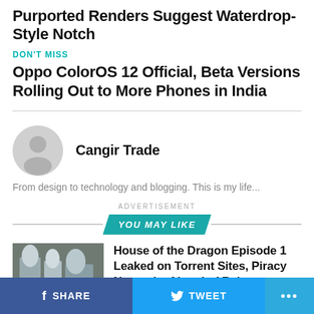Purported Renders Suggest Waterdrop-Style Notch
DON'T MISS
Oppo ColorOS 12 Official, Beta Versions Rolling Out to More Phones in India
[Figure (photo): Author avatar placeholder icon — gray circle with silhouette]
Cangir Trade
From design to technology and blogging. This is my life...
ADVERTISEMENT
YOU MAY LIKE
[Figure (photo): Thumbnail image for House of the Dragon article showing medieval-style characters in grey costumes]
House of the Dragon Episode 1 Leaked on Torrent Sites, Piracy Networks Ahead of Release
SHARE   TWEET   ...